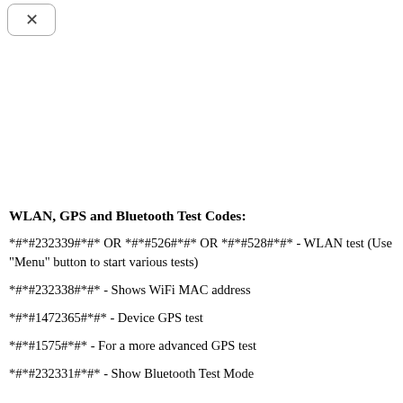[Figure (other): Back navigation button with X icon in top-left corner]
WLAN, GPS and Bluetooth Test Codes:
*#*#232339#*#* OR *#*#526#*#* OR *#*#528#*#* - WLAN test (Use "Menu" button to start various tests)
*#*#232338#*#* - Shows WiFi MAC address
*#*#1472365#*#* - Device GPS test
*#*#1575#*#* - For a more advanced GPS test
*#*#232331#*#* - Show Bluetooth Test Mode